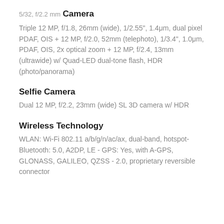5/32, f/2.2 mm
Camera
Triple 12 MP, f/1.8, 26mm (wide), 1/2.55", 1.4μm, dual pixel PDAF, OIS + 12 MP, f/2.0, 52mm (telephoto), 1/3.4", 1.0μm, PDAF, OIS, 2x optical zoom + 12 MP, f/2.4, 13mm (ultrawide) w/ Quad-LED dual-tone flash, HDR (photo/panorama)
Selfie Camera
Dual 12 MP, f/2.2, 23mm (wide) SL 3D camera w/ HDR
Wireless Technology
WLAN: Wi-Fi 802.11 a/b/g/n/ac/ax, dual-band, hotspot- Bluetooth: 5.0, A2DP, LE - GPS: Yes, with A-GPS, GLONASS, GALILEO, QZSS - 2.0, proprietary reversible connector